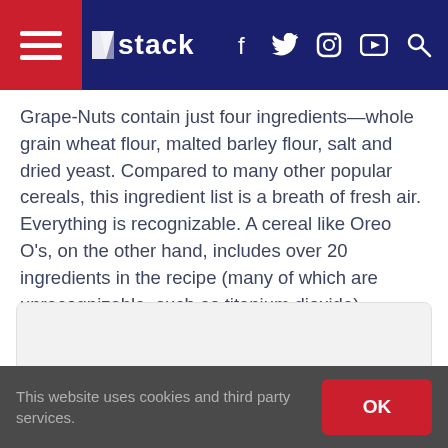stack (navigation bar with hamburger menu, logo, social icons: f, twitter, instagram, youtube, search)
Grape-Nuts contain just four ingredients—whole grain wheat flour, malted barley flour, salt and dried yeast. Compared to many other popular cereals, this ingredient list is a breath of fresh air. Everything is recognizable. A cereal like Oreo O's, on the other hand, includes over 20 ingredients in the recipe (many of which are unrecognizable, such as titanium dioxide).
[Figure (other): Advertisement placeholder box (light grey rounded rectangle)]
This website uses cookies and third party services. OK